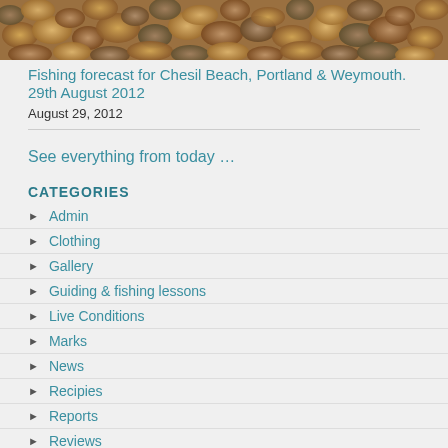[Figure (photo): Close-up photo of pebbles/stones on a beach, showing various sizes and colors including orange, brown, grey tones]
Fishing forecast for Chesil Beach, Portland & Weymouth. 29th August 2012
August 29, 2012
See everything from today …
CATEGORIES
Admin
Clothing
Gallery
Guiding & fishing lessons
Live Conditions
Marks
News
Recipies
Reports
Reviews
Tips